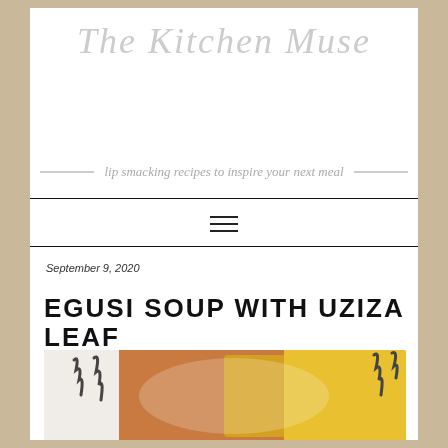The Kitchen Muse
lip smacking recipes to inspire your next meal
≡
September 9, 2020
EGUSI SOUP WITH UZIZA LEAF
[Figure (photo): Food photo showing egusi soup with uziza leaf, with a yellow cornmeal side dish (possibly pounded yam or eba), served in a white bowl with forks visible]